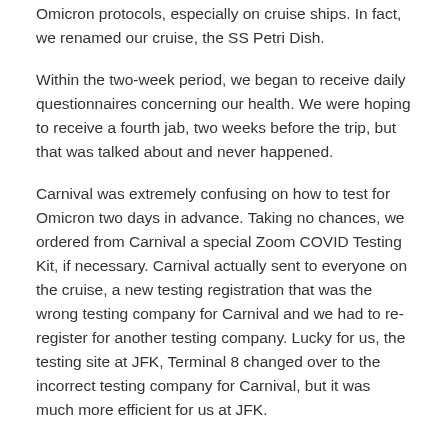Omicron protocols, especially on cruise ships. In fact, we renamed our cruise, the SS Petri Dish.
Within the two-week period, we began to receive daily questionnaires concerning our health. We were hoping to receive a fourth jab, two weeks before the trip, but that was talked about and never happened.
Carnival was extremely confusing on how to test for Omicron two days in advance. Taking no chances, we ordered from Carnival a special Zoom COVID Testing Kit, if necessary. Carnival actually sent to everyone on the cruise, a new testing registration that was the wrong testing company for Carnival and we had to re-register for another testing company. Lucky for us, the testing site at JFK, Terminal 8 changed over to the incorrect testing company for Carnival, but it was much more efficient for us at JFK.